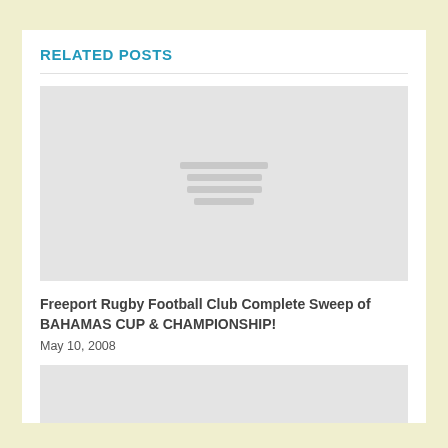RELATED POSTS
[Figure (photo): Gray placeholder image with three horizontal lines in the center, representing a loading or missing image thumbnail]
Freeport Rugby Football Club Complete Sweep of BAHAMAS CUP & CHAMPIONSHIP!
May 10, 2008
[Figure (photo): Gray placeholder image thumbnail, partially visible at bottom of page]